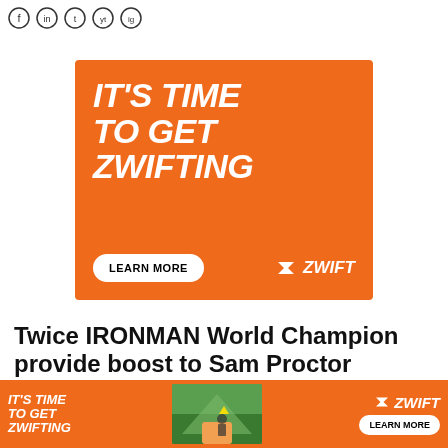[Figure (logo): Social media icons row (circular outlines) at top of page]
[Figure (infographic): Orange Zwift advertisement banner reading IT'S TIME TO GET ZWIFTING with LEARN MORE button and Zwift logo]
Twice IRONMAN World Champion provide boost to Sam Proctor
[Figure (infographic): Bottom sticky orange Zwift ad bar with IT'S TIME TO GET ZWIFTING text, a mountain cycling photo, Zwift logo and LEARN MORE button]